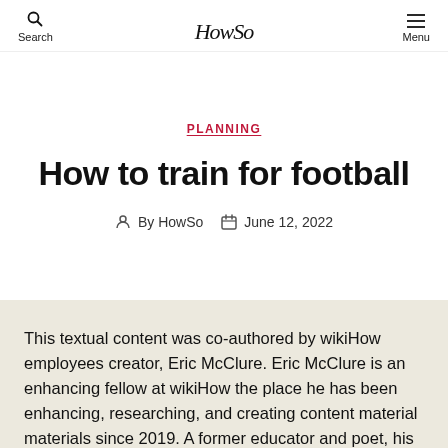Search | HowSo | Menu
PLANNING
How to train for football
By HowSo   June 12, 2022
This textual content was co-authored by wikiHow employees creator, Eric McClure. Eric McClure is an enhancing fellow at wikiHow the place he has been enhancing, researching, and creating content material materials since 2019. A former educator and poet, his work has appeared in Carcinogenic Poetry, Shot Glass Journal, Rejection Magazine, and The Fem. Nail Mireille